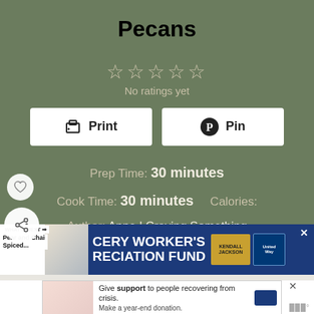Pecans
No ratings yet
Print  Pin
Prep Time: 30 minutes
Cook Time: 30 minutes   Calories:
Author: Anne | Craving Something Healthy
[Figure (infographic): Advertisement banner for Grocery Worker's Appreciation Fund with Kendall Jackson and United Way logos]
[Figure (infographic): Advertisement: Give support to people recovering from crisis. Make a year-end donation.]